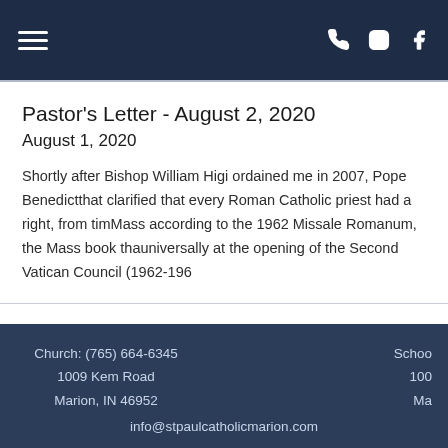Navigation bar with hamburger menu, phone, Instagram, and Facebook icons
Pastor's Letter - August 2, 2020
August 1, 2020
Shortly after Bishop William Higi ordained me in 2007, Pope Benedictthat clarified that every Roman Catholic priest had a right, from timMass according to the 1962 Missale Romanum, the Mass book thauniversally at the opening of the Second Vatican Council (1962-196
Church: (765) 664-6345
1009 Kem Road
Marion, IN 46952
info@stpaulcatholicmarion.com
Schoo
100
Ma
Mass Times & Directions